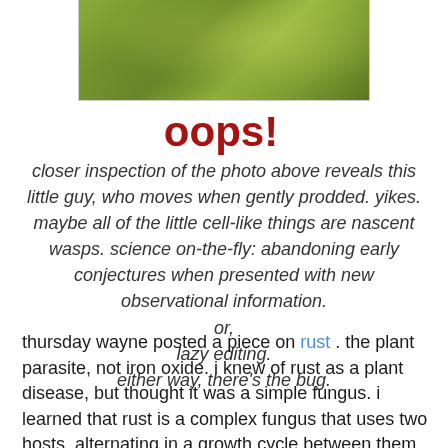[Figure (photo): Close-up photo of a green leaf surface, partially cropped, showing textured green plant material]
oops! closer inspection of the photo above reveals this little guy, who moves when gently prodded. yikes. maybe all of the little cell-like things are nascent wasps. science on-the-fly: abandoning early conjectures when presented with new observational information. or, lazy editing. either way, there's the bug.
thursday wayne posted a piece on rust . the plant parasite, not iron oxide. i knew of rust as a plant disease, but thought it was a simple fungus. i learned that rust is a complex fungus that uses two hosts, alternating in a growth cycle between them. wayne, of course, provided a complete and fascinating description of two rusts, their life cycles and hosts, with pictures. when i went out to weed today i found a rust on a dandelion. shazam, i said to myself, here's a post. i took pictures. i'll just go google "dandelion rust" and have